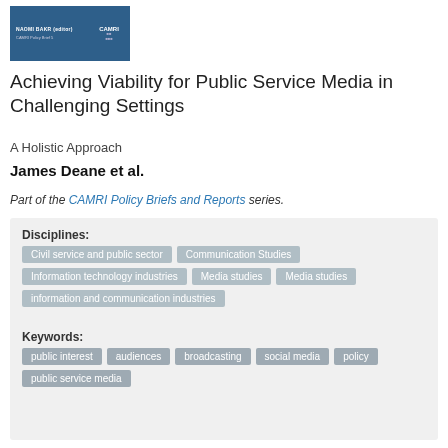[Figure (illustration): Book cover thumbnail showing blue background with NAOMI BAKR (editor) text and CAMRI logo]
Achieving Viability for Public Service Media in Challenging Settings
A Holistic Approach
James Deane et al.
Part of the CAMRI Policy Briefs and Reports series.
Disciplines: Civil service and public sector  Communication Studies  Information technology industries  Media studies  Media studies  information and communication industries
Keywords: public interest  audiences  broadcasting  social media  policy  public service media